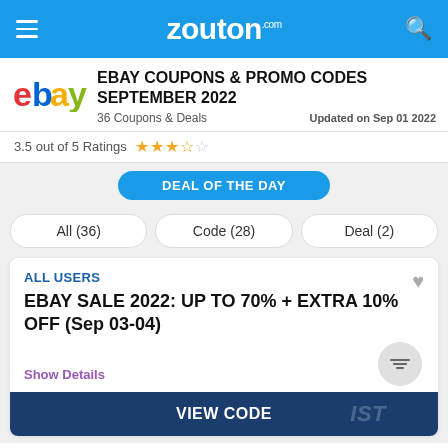zouton.com
EBAY COUPONS & PROMO CODES SEPTEMBER 2022
36 Coupons & Deals   Updated on Sep 01 2022
3.5 out of 5 Ratings
DEAL OF THE DAY
All (36)
Code (28)
Deal (2)
ALL USERS
EBAY SALE 2022: UP TO 70% + EXTRA 10% OFF (Sep 03-04)
Show Details
VIEW CODE
Zouton App
4.2 Rating
100% Exclusive Offers & Coupons
Shop & Save on 500+ Online Brands
DOWNLOAD NOW